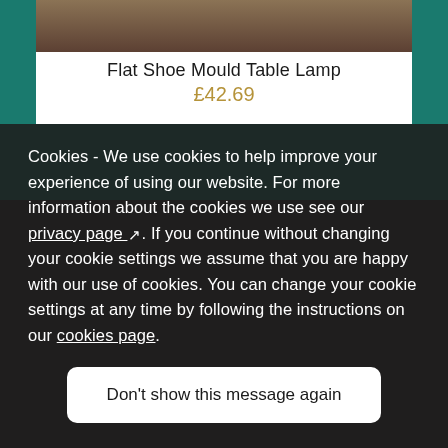[Figure (photo): Top portion of a flat shoe mould table lamp product photo on white background]
Flat Shoe Mould Table Lamp
£42.69
Cookies - We use cookies to help improve your experience of using our website. For more information about the cookies we use see our privacy page ↗. If you continue without changing your cookie settings we assume that you are happy with our use of cookies. You can change your cookie settings at any time by following the instructions on our cookies page.
Don't show this message again